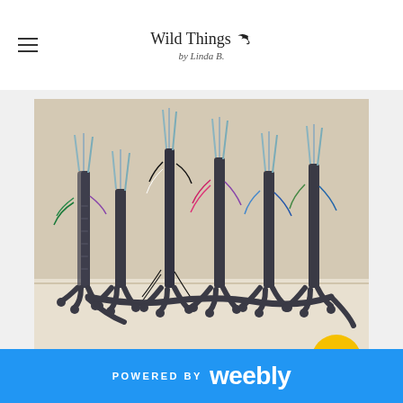Wild Things by Linda B.
[Figure (photo): A group of dark wire sculptures resembling tall bird legs with clawed feet, standing on a white surface. The sculptures have colorful wire details at the tops.]
POWERED BY weebly